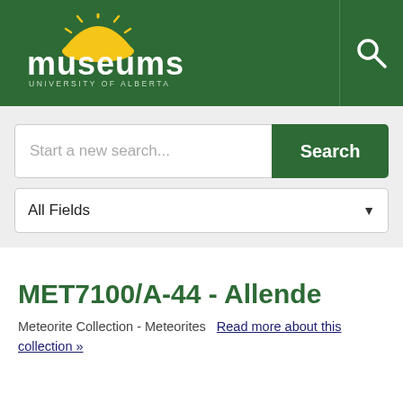[Figure (logo): Museums University of Alberta logo — sun/rays above text 'museums' with 'UNIVERSITY OF ALBERTA' below, on dark green header background]
Start a new search...
Search
All Fields
MET7100/A-44 - Allende
Meteorite Collection - Meteorites   Read more about this collection »